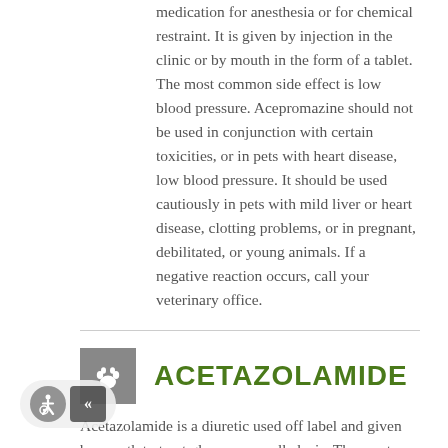medication for anesthesia or for chemical restraint. It is given by injection in the clinic or by mouth in the form of a tablet. The most common side effect is low blood pressure. Acepromazine should not be used in conjunction with certain toxicities, or in pets with heart disease, low blood pressure. It should be used cautiously in pets with mild liver or heart disease, clotting problems, or in pregnant, debilitated, or young animals. If a negative reaction occurs, call your veterinary office.
ACETAZOLAMIDE
Acetazolamide is a diuretic used off label and given by mouth to treat glaucoma or alkalosis. The most common side effect is stomach upset, but other side effects of the central nervous system, blood, kidneys, electrolytes, blood sugar levels, liver, or skin are possible. Do not use this